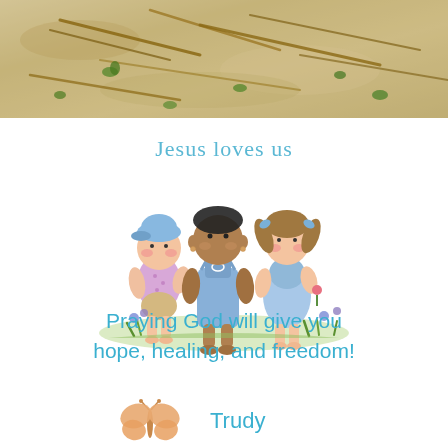[Figure (photo): Top photograph of sandy ground with sticks, twigs, and small green plants/weeds scattered across dry sandy soil.]
[Figure (illustration): Cartoon illustration of three children sitting together in a garden with flowers. Text above reads 'Jesus loves us'. Left child wears blue cap and purple dotted shirt, middle child has dark skin and blue overalls, right child has brown pigtails and blue dress.]
Praying God will give you hope, healing, and freedom!
[Figure (illustration): Small orange/peach butterfly illustration.]
Trudy